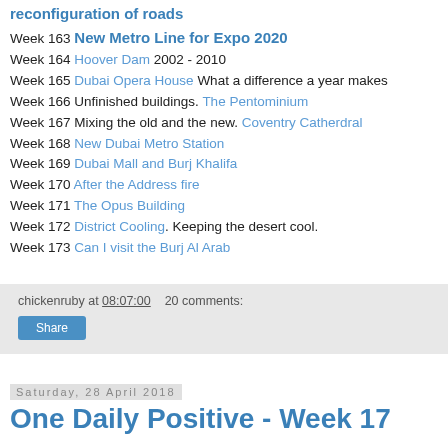reconfiguration of roads
Week 163 New Metro Line for Expo 2020
Week 164 Hoover Dam 2002 - 2010
Week 165 Dubai Opera House What a difference a year makes
Week 166 Unfinished buildings. The Pentominium
Week 167 Mixing the old and the new. Coventry Catherdral
Week 168 New Dubai Metro Station
Week 169 Dubai Mall and Burj Khalifa
Week 170 After the Address fire
Week 171 The Opus Building
Week 172 District Cooling. Keeping the desert cool.
Week 173 Can I visit the Burj Al Arab
chickenruby at 08:07:00   20 comments:
Share
Saturday, 28 April 2018
One Daily Positive - Week 17